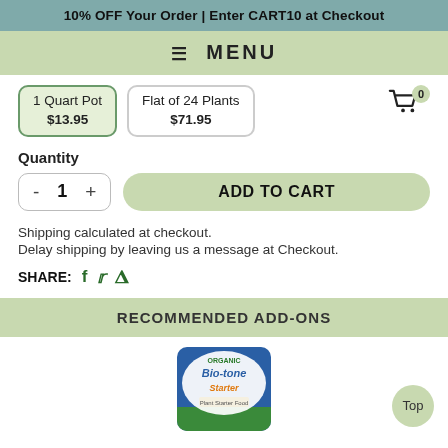10% OFF Your Order | Enter CART10 at Checkout
≡ MENU
1 Quart Pot $13.95   Flat of 24 Plants $71.95
Quantity
- 1 +   ADD TO CART
Shipping calculated at checkout.
Delay shipping by leaving us a message at Checkout.
SHARE: f 🐦 p
RECOMMENDED ADD-ONS
[Figure (photo): Bag of Organic Bio-tone Starter fertilizer product]